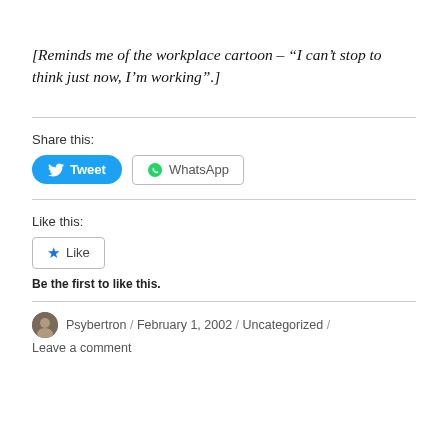[Reminds me of the workplace cartoon – “I can’t stop to think just now, I’m working”.]
Share this:
[Figure (other): Tweet button (blue rounded) and WhatsApp button (outlined with WhatsApp logo)]
Like this:
[Figure (other): Like button with star icon]
Be the first to like this.
Psybertron / February 1, 2002 / Uncategorized / Leave a comment